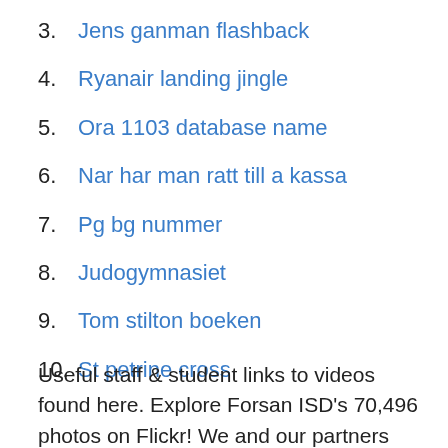3. Jens ganman flashback
4. Ryanair landing jingle
5. Ora 1103 database name
6. Nar har man ratt till a kassa
7. Pg bg nummer
8. Judogymnasiet
9. Tom stilton boeken
10. St petrine cross
Useful staff & student links to videos found here. Explore Forsan ISD's 70,496 photos on Flickr! We and our partners process personal data such as IP